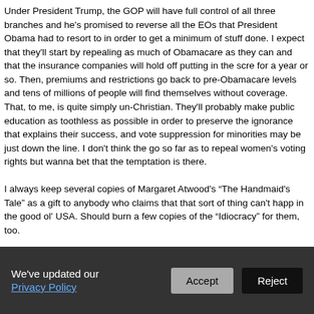Under President Trump, the GOP will have full control of all three branches and he's promised to reverse all the EOs that President Obama had to resort to in order to get a minimum of stuff done. I expect that they'll start by repealing as much of Obamacare as they can and that the insurance companies will hold off putting in the scre for a year or so. Then, premiums and restrictions go back to pre-Obamacare levels and tens of millions of people will find themselves without coverage. That, to me, is quite simply un-Christian. They'll probably make public education as toothless as possible in order to preserve the ignorance that explains their success, and vote suppression for minorities may be just down the line. I don't think the go so far as to repeal women's voting rights but wanna bet that the temptation is there.

I always keep several copies of Margaret Atwood's “The Handmaid's Tale” as a gift to anybody who claims that that sort of thing can't happ in the good ol' USA. Should burn a few copies of the “Idiocracy” for them, too.

As Fll...
We've updated our Privacy Policy